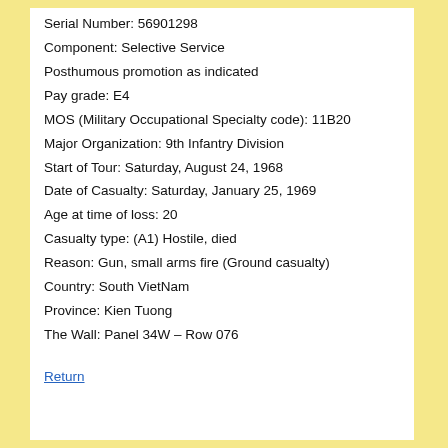Serial Number: 56901298
Component: Selective Service
Posthumous promotion as indicated
Pay grade: E4
MOS (Military Occupational Specialty code): 11B20
Major Organization: 9th Infantry Division
Start of Tour: Saturday, August 24, 1968
Date of Casualty: Saturday, January 25, 1969
Age at time of loss: 20
Casualty type: (A1) Hostile, died
Reason: Gun, small arms fire (Ground casualty)
Country: South VietNam
Province: Kien Tuong
The Wall: Panel 34W – Row 076
Return